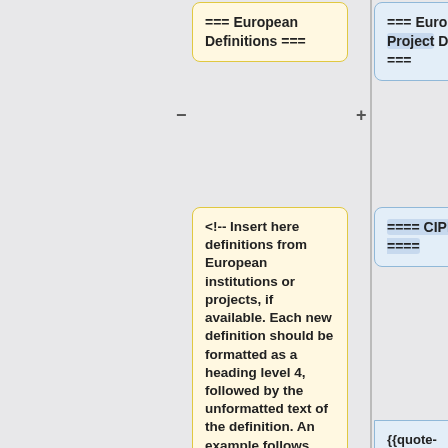=== European Definitions ===
=== European Project Definitions ===
<!-- Insert here definitions from European institutions or projects, if available. Each new definition should be formatted as a heading level 4, followed by the unformatted text of the definition. An example follows below:
==== CIPRNet project ====
{{quote-ciprnet|Simulati